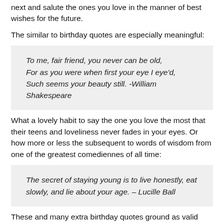next and salute the ones you love in the manner of best wishes for the future.
The similar to birthday quotes are especially meaningful:
To me, fair friend, you never can be old,
For as you were when first your eye I eye'd,
Such seems your beauty still. -William Shakespeare
What a lovely habit to say the one you love the most that their teens and loveliness never fades in your eyes. Or how more or less the subsequent to words of wisdom from one of the greatest comediennes of all time:
The secret of staying young is to live honestly, eat slowly, and lie about your age. – Lucille Ball
These and many extra birthday quotes ground as valid today as the day they were spoken or written, whether last year or three thousand years ago. Birthday quotes not solitary find the money for us a connection to our loved ones, they attach us to all those who